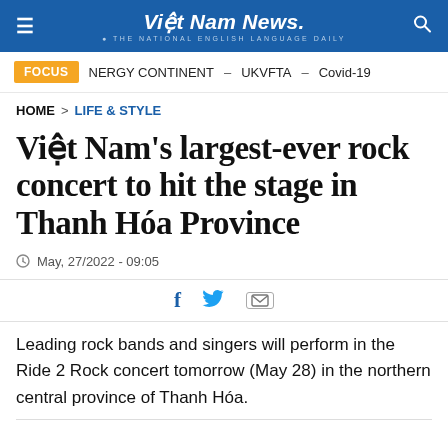Việt Nam News. THE NATIONAL ENGLISH LANGUAGE DAILY
FOCUS   NERGY CONTINENT – UKVFTA – Covid-19
HOME > LIFE & STYLE
Việt Nam's largest-ever rock concert to hit the stage in Thanh Hóa Province
May, 27/2022 - 09:05
Leading rock bands and singers will perform in the Ride 2 Rock concert tomorrow (May 28) in the northern central province of Thanh Hóa.